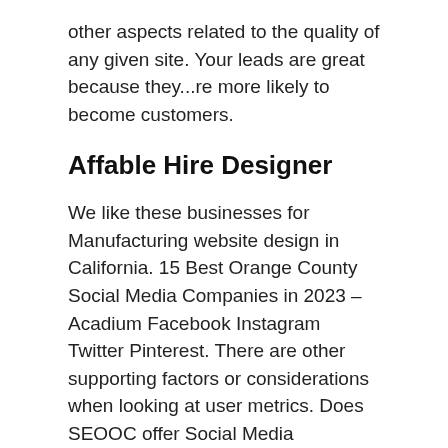other aspects related to the quality of any given site. Your leads are great because they...re more likely to become customers.
Affable Hire Designer
We like these businesses for Manufacturing website design in California. 15 Best Orange County Social Media Companies in 2023 – Acadium Facebook Instagram Twitter Pinterest. There are other supporting factors or considerations when looking at user metrics. Does SEOOC offer Social Media Marketing in Irvine? Yes, SEO Orange County does provide Social Media Marketing in Irvine. Rhythm takes a holistic approach to our client's paid media needs. Whether it's traditional PPC, social or rich media we can help you engage targeted